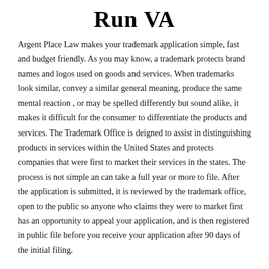Run VA
Argent Place Law makes your trademark application simple, fast and budget friendly. As you may know, a trademark protects brand names and logos used on goods and services. When trademarks look similar, convey a similar general meaning, produce the same mental reaction , or may be spelled differently but sound alike, it makes it difficult for the consumer to differentiate the products and services. The Trademark Office is deigned to assist in distinguishing products in services within the United States and protects companies that were first to market their services in the states. The process is not simple an can take a full year or more to file. After the application is submitted, it is reviewed by the trademark office, open to the public so anyone who claims they were to market first has an opportunity to appeal your application, and is then registered in public file before you receive your application after 90 days of the initial filing.